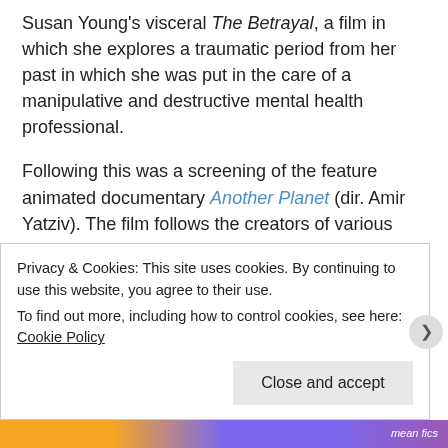Susan Young's visceral The Betrayal, a film in which she explores a traumatic period from her past in which she was put in the care of a manipulative and destructive mental health professional.
Following this was a screening of the feature animated documentary Another Planet (dir. Amir Yatziv). The film follows the creators of various virtual simulations of the Auschwitz-Birkenau Concentration Camp. These worlds have been created by very different people, each with very different motivations: police forensics, game development, museum exhibit modelling. In the film we see the creators of each simulated camp as avatars exploring their own virtual Auschwitz.
This was one of those films that is very difficult to describe or explain, or even to make sense of your feelings about during or after watching
Privacy & Cookies: This site uses cookies. By continuing to use this website, you agree to their use. To find out more, including how to control cookies, see here: Cookie Policy
Close and accept